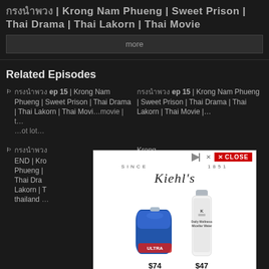กรงนำพวง | Krong Nam Phueng | Sweet Prison | Thai Drama | Thai Lakorn | Thai Movie
more
Related Episodes
🏳️ กรงนำพวง ep 15 | Krong Nam Phueng | Sweet Prison | Thai Drama | Thai Lakorn | Thai Movie | t...
กรงนำพวง ep 15 | Krong Nam Phueng | Sweet Prison | Thai Drama | Thai Lakorn | Thai Movie |...
🏳️ กรงนำพวง END | Krong Nam Phueng | Thai Drama | Thai Lakorn | Thai Movie |...
Krong Nam Phueng | Thai Drama | Thai Movie |...
[Figure (screenshot): Kiehl's advertisement overlay showing brand name 'Kiehl's Since 1851', two products - a blue pouch priced at $74 and a white bottle priced at $47, with a close button in red.]